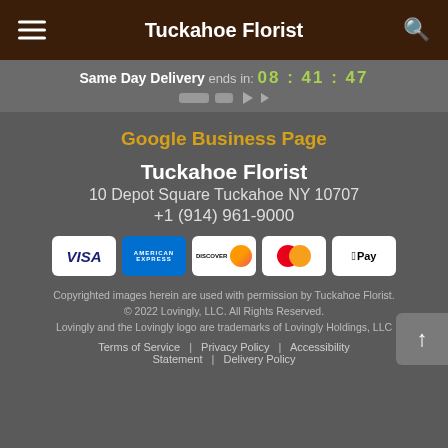Tuckahoe Florist
Same Day Delivery ends in: 08 : 41 : 47
Google Business Page
Tuckahoe Florist
10 Depot Square Tuckahoe NY 10707
+1 (914) 961-9000
[Figure (other): Payment method icons: VISA, American Express, Discover, Mastercard, Apple Pay]
Copyrighted images herein are used with permission by Tuckahoe Florist.
© 2022 Lovingly, LLC. All Rights Reserved.
Lovingly and the Lovingly logo are trademarks of Lovingly Holdings, LLC
Terms of Service | Privacy Policy | Accessibility Statement | Delivery Policy